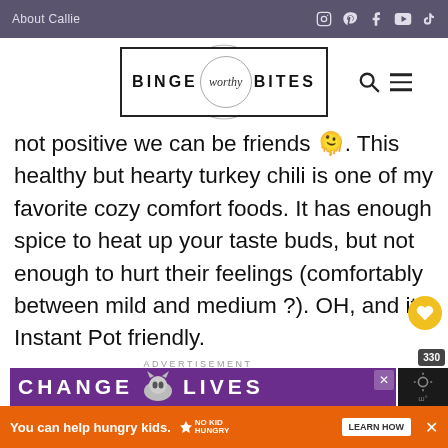About Callie
[Figure (logo): Binge Worthy Bites logo with circle script text and navigation icons]
not positive we can be friends 🫠. This healthy but hearty turkey chili is one of my favorite cozy comfort foods. It has enough spice to heat up your taste buds, but not enough to hurt their feelings (comfortably between mild and medium ?). OH, and it's Instant Pot friendly.
ADVERTISEMENT
[Figure (screenshot): Purple ad banner showing cat with text CHANGE LIVES with close button]
[Figure (screenshot): Orange ad bar: You can help hungry kids. No Kid Hungry. Learn How.]